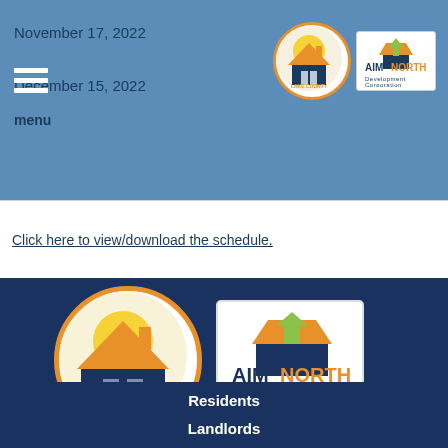November 17, 2022
December 15, 2022
menu
[Figure (logo): Lake County Housing Authority circular logo and AIM North Development Corporation logo in header]
Click here to view/download the schedule.
[Figure (logo): Large Lake County Housing Authority circular logo and AIM North Development Corporation logo on dark blue background]
Residents
Landlords